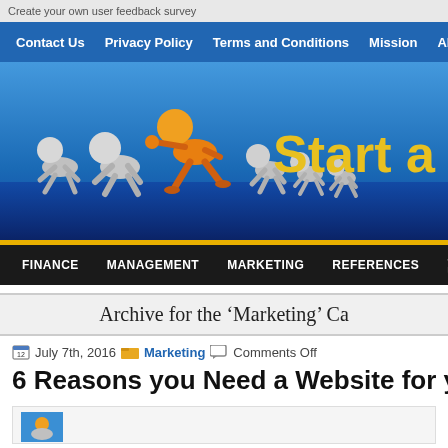Create your own user feedback survey
Contact Us | Privacy Policy | Terms and Conditions | Mission | About Us
[Figure (illustration): Website hero banner showing 3D cartoon figures in a race/crawl pose, one orange figure leading several grey figures, with text 'Start a B...' in yellow on a blue gradient background]
FINANCE | MANAGEMENT | MARKETING | REFERENCES | START-UP
Archive for the ‘Marketing’ Ca
July 7th, 2016   Marketing   Comments Off
6 Reasons you Need a Website for your Busi